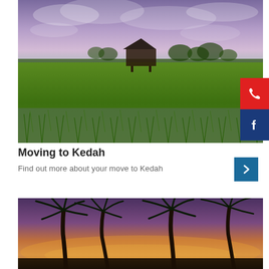[Figure (photo): Rice paddy field with green seedlings and water reflections under a dramatic purple-blue sky. A dark wooden house on stilts stands in the middle distance. Trees line the far horizon.]
Moving to Kedah
Find out more about your move to Kedah
[Figure (photo): Silhouettes of tall coconut palm trees against a warm sunset sky with orange, purple and golden tones near Kedah beach.]